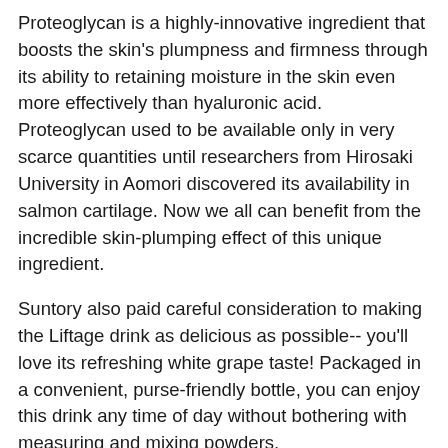Proteoglycan is a highly-innovative ingredient that boosts the skin's plumpness and firmness through its ability to retaining moisture in the skin even more effectively than hyaluronic acid. Proteoglycan used to be available only in very scarce quantities until researchers from Hirosaki University in Aomori discovered its availability in salmon cartilage. Now we all can benefit from the incredible skin-plumping effect of this unique ingredient.
Suntory also paid careful consideration to making the Liftage drink as delicious as possible-- you'll love its refreshing white grape taste! Packaged in a convenient, purse-friendly bottle, you can enjoy this drink any time of day without bothering with measuring and mixing powders.
With a great taste and convenience in one, we think you'll look forward to getting your daily dose of...